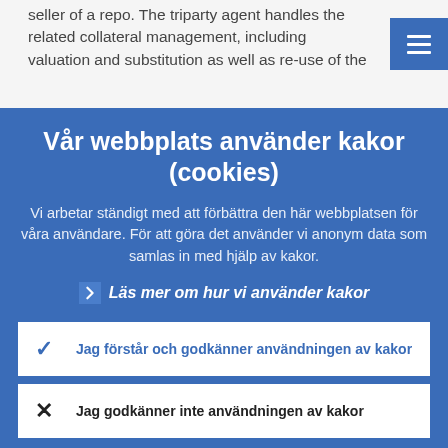seller of a repo. The triparty agent handles the related collateral management, including valuation and substitution as well as re-use of the
Vår webbplats använder kakor (cookies)
Vi arbetar ständigt med att förbättra den här webbplatsen för våra användare. För att göra det använder vi anonym data som samlas in med hjälp av kakor.
Läs mer om hur vi använder kakor
Jag förstår och godkänner användningen av kakor
Jag godkänner inte användningen av kakor